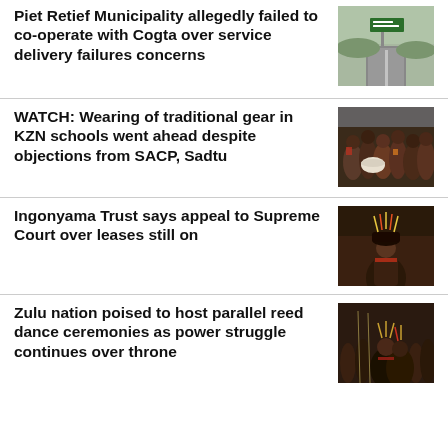Piet Retief Municipality allegedly failed to co-operate with Cogta over service delivery failures concerns
[Figure (photo): Road sign reading 'Piet Retief 123' on a highway with hills in background]
WATCH: Wearing of traditional gear in KZN schools went ahead despite objections from SACP, Sadtu
[Figure (photo): Group of people in traditional African attire with drums at a school event]
Ingonyama Trust says appeal to Supreme Court over leases still on
[Figure (photo): Person in traditional Zulu regalia including headdress at a ceremony]
Zulu nation poised to host parallel reed dance ceremonies as power struggle continues over throne
[Figure (photo): People in traditional Zulu attire at a reed dance ceremony]